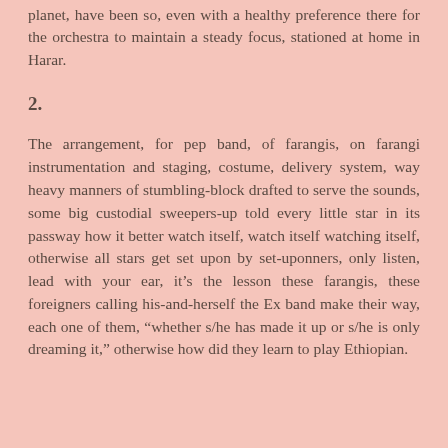planet, have been so, even with a healthy preference there for the orchestra to maintain a steady focus, stationed at home in Harar.
2.
The arrangement, for pep band, of farangis, on farangi instrumentation and staging, costume, delivery system, way heavy manners of stumbling-block drafted to serve the sounds, some big custodial sweepers-up told every little star in its passway how it better watch itself, watch itself watching itself, otherwise all stars get set upon by set-uponners, only listen, lead with your ear, it’s the lesson these farangis, these foreigners calling his-and-herself the Ex band make their way, each one of them, “whether s/he has made it up or s/he is only dreaming it,” otherwise how did they learn to play Ethiopian.